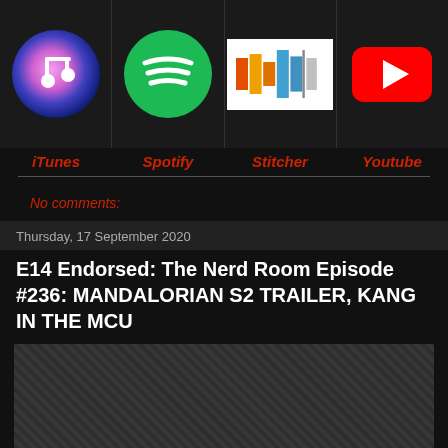[Figure (logo): Four podcast platform icons in a row: iTunes, Spotify, Stitcher, YouTube]
iTunes   Spotify   Stitcher   Youtube
No comments:
Thursday, 17 September 2020
E14 Endorsed: The Nerd Room Episode #236: MANDALORIAN S2 TRAILER, KANG IN THE MCU
[Figure (photo): Dark blurred thumbnail image]